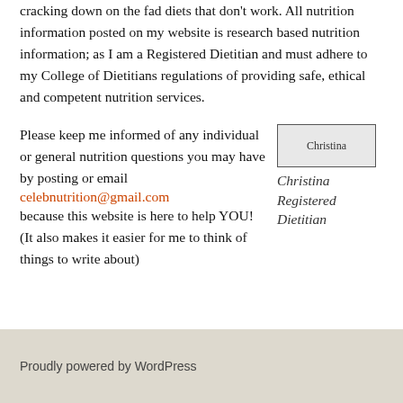cracking down on the fad diets that don't work. All nutrition information posted on my website is research based nutrition information; as I am a Registered Dietitian and must adhere to my College of Dietitians regulations of providing safe, ethical and competent nutrition services.
Please keep me informed of any individual or general nutrition questions you may have by posting or email celebnutrition@gmail.com because this website is here to help YOU! (It also makes it easier for me to think of things to write about)
[Figure (photo): Photo of Christina, a Registered Dietitian]
Christina Registered Dietitian
Proudly powered by WordPress